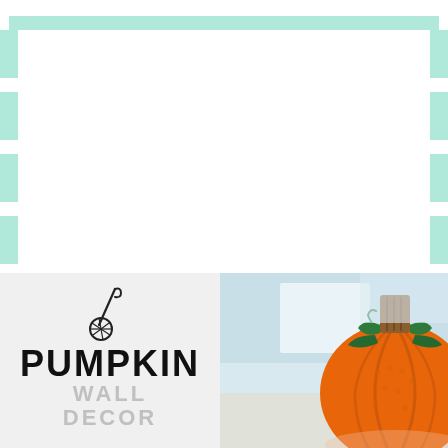[Figure (illustration): Decorative teal/mint horizontal stripe border on left, right, and top edges of the page forming a frame pattern]
[Figure (photo): Crochet/yarn pumpkin wall decor with orange body, brown stem, and green leaves, photographed close-up with blurred background]
PUMPKIN
WALL
DECOR